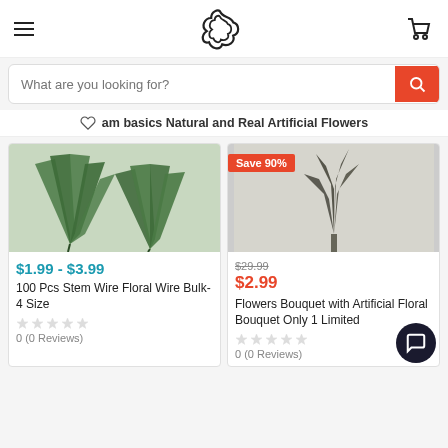Navigation header with hamburger menu, flower logo, and cart icon
What are you looking for?
am basics Natural and Real Artificial Flowers
[Figure (photo): Green fan-shaped dried leaves product image]
$1.99 - $3.99
100 Pcs Stem Wire Floral Wire Bulk- 4 Size
0 (0 Reviews)
[Figure (photo): Dark plant bouquet on light background with Save 90% badge]
Save 90%
$29.99
$2.99
Flowers Bouquet with Artificial Floral Bouquet Only 1 Limited
0 (0 Reviews)